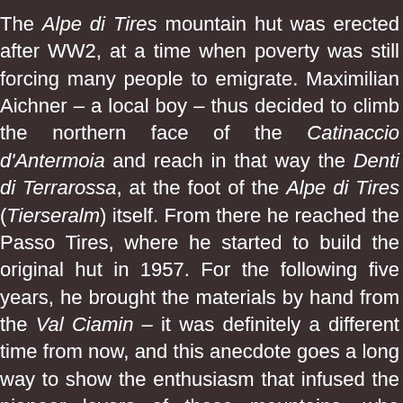The Alpe di Tires mountain hut was erected after WW2, at a time when poverty was still forcing many people to emigrate. Maximilian Aichner – a local boy – thus decided to climb the northern face of the Catinaccio d'Antermoia and reach in that way the Denti di Terrarossa, at the foot of the Alpe di Tires (Tierseralm) itself. From there he reached the Passo Tires, where he started to build the original hut in 1957. For the following five years, he brought the materials by hand from the Val Ciamin – it was definitely a different time from now, and this anecdote goes a long way to show the enthusiasm that infused the pioneer lovers of these mountains, who contributed so much with their unseen efforts to make them famous the world over: it is also to such people that we owe the current listing of the Dolomites among the UNESCO World Heritage Sites.